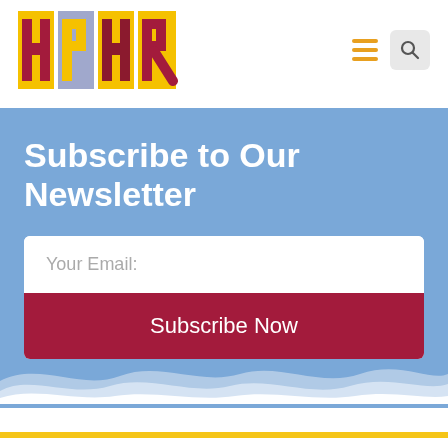[Figure (logo): HPHR logo with colorful block letters on yellow/gold background]
[Figure (infographic): Hamburger menu icon (three orange horizontal lines) and search icon (magnifying glass in gray rounded rectangle)]
Subscribe to Our Newsletter
Your Email:
Subscribe Now
[Figure (illustration): White wave decoration at the bottom of the blue subscribe section]